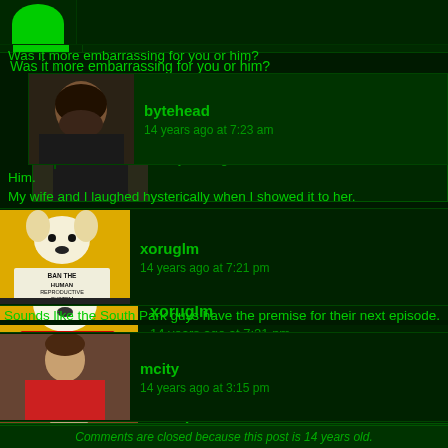[Figure (illustration): Top bar with green semicircle avatar placeholder and dark green right section]
Was it more embarrassing for you or him?
[Figure (photo): Avatar photo of bytehead - bearded man in black shirt]
bytehead
14 years ago at 7:23 am
Him.

My wife and I laughed hysterically when I showed it to her.
[Figure (illustration): Avatar image for xoruglm - yellow background cartoon dog holding sign saying BAN THE HUMAN REPRODUCTIVE SYSTEM]
xoruglm
14 years ago at 7:21 pm
Sounds like the South Park guys have the premise for their next episode.
[Figure (photo): Avatar photo of mcity - man in red sweater outdoors]
mcity
14 years ago at 3:15 pm
Is it possible to have her just labeled "stupid" instead?
Comments are closed because this post is 14 years old.